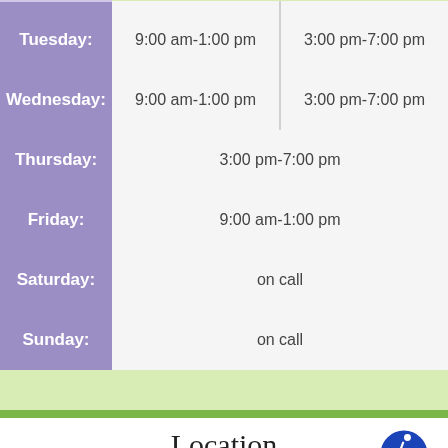| Day | Morning | Afternoon |
| --- | --- | --- |
| Tuesday: | 9:00 am-1:00 pm | 3:00 pm-7:00 pm |
| Wednesday: | 9:00 am-1:00 pm | 3:00 pm-7:00 pm |
| Thursday: | 3:00 pm-7:00 pm |  |
| Friday: | 9:00 am-1:00 pm |  |
| Saturday: | on call |  |
| Sunday: | on call |  |
Location
Find us on the map